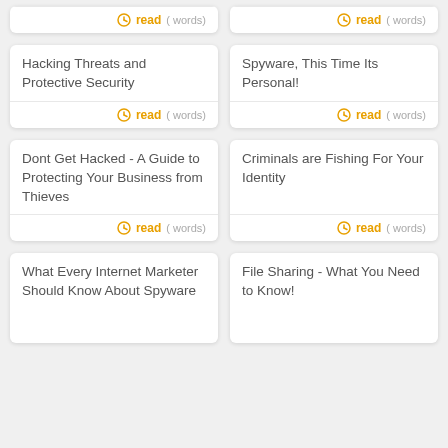read ( words)
read ( words)
Hacking Threats and Protective Security
read ( words)
Spyware, This Time Its Personal!
read ( words)
Dont Get Hacked - A Guide to Protecting Your Business from Thieves
read ( words)
Criminals are Fishing For Your Identity
read ( words)
What Every Internet Marketer Should Know About Spyware
File Sharing - What You Need to Know!